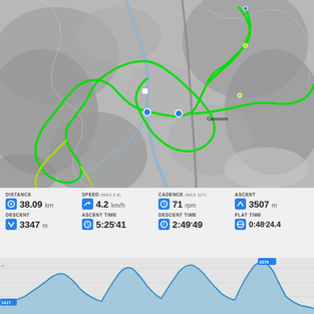[Figure (map): Topographic map showing a cycling/hiking route traced in bright green through a mountainous area near Canmore, Canada. The route forms loops and switchbacks through valleys and ridges. Blue river lines visible. Map in grayscale with green GPS track overlaid.]
| Metric | Value |
| --- | --- |
| DISTANCE | 38.09 km |
| SPEED (MAX 0.6) | 4.2 km/h |
| CADENCE (MAX 127) | 71 rpm |
| ASCENT | 3507 m |
| DESCENT | 3347 m |
| ASCENT TIME | 5:25'41 |
| DESCENT TIME | 2:49'49 |
| FLAT TIME | 0:48'24.4 |
[Figure (area-chart): Elevation profile chart showing altitude changes over the route distance. Blue line with filled area below showing multiple peaks and valleys. Y-axis shows elevation in meters (approximately 1417m to 2376m). Small blue label shows 1417 at start and 2376 near peak.]